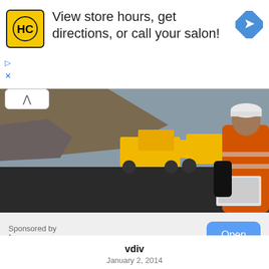[Figure (screenshot): Advertisement banner with HC logo (yellow background, black H and C letters in circle), text 'View store hours, get directions, or call your salon!', and a blue diamond navigation arrow icon on the right]
▷
X
[Figure (photo): Construction site photo showing a worker in orange safety vest and hard hat using a laptop, with yellow heavy machinery (loader and dump truck) in background on a roadway]
[Figure (screenshot): HCSS advertisement strip with green HCSS logo, vertical divider, tagline 'Innovative Software for the Construction Industry', and a green 'LEARN MORE' button]
Sponsored by
hcss.com
Open
vdiv
January 2, 2014
Because: